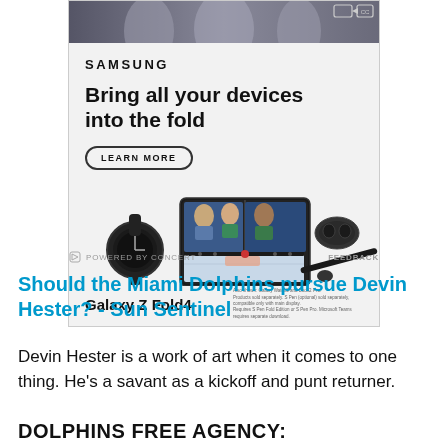[Figure (illustration): Samsung Galaxy Z Fold4 advertisement. Header shows people in an office. Ad body shows Samsung logo, headline 'Bring all your devices into the fold', a 'LEARN MORE' button, and product images of Galaxy Watch5, Galaxy Z Fold4 open showing a video call, Galaxy Buds2 Pro, and S Pen.]
POWERED BY CONCERT   FEEDBACK
Should the Miami Dolphins pursue Devin Hester? - Sun Sentinel
Devin Hester is a work of art when it comes to one thing. He's a savant as a kickoff and punt returner.
DOLPHINS FREE AGENCY: